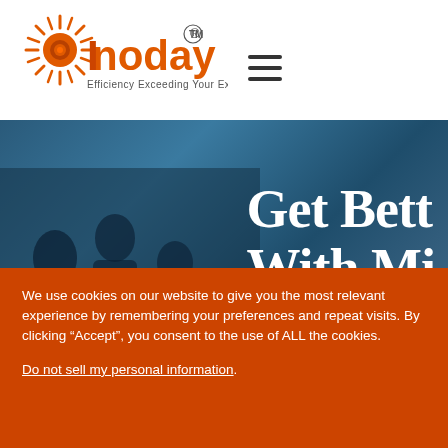[Figure (logo): Inoday logo with sun/starburst icon in orange and red, text 'Inoday' in orange with TM symbol, tagline 'Efficiency Exceeding Your Expectations']
[Figure (photo): Hero banner with blue/teal toned photo of people in an office/meeting setting, overlay text 'Get Bett' (partially visible) and 'With Mi' (partially visible), suggesting 'Get Better Results With Microsoft' or similar]
We use cookies on our website to give you the most relevant experience by remembering your preferences and repeat visits. By clicking “Accept”, you consent to the use of ALL the cookies.
Do not sell my personal information.
Cookie Settings
Accept